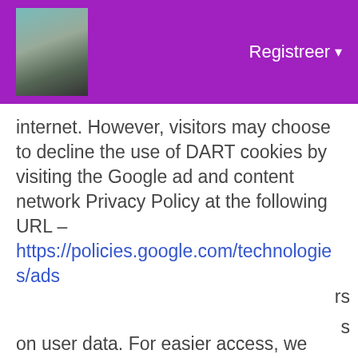[Figure (photo): Purple header bar with a profile photo on the left and 'Registreer' button with dropdown arrow on the right]
internet. However, visitors may choose to decline the use of DART cookies by visiting the Google ad and content network Privacy Policy at the following URL – https://policies.google.com/technologies/ads
[Figure (screenshot): Cookie consent banner with dark background saying 'This website uses cookies to ensure you get the best experience on our website' with a 'Learn More' link and a 'Got It!' blue button]
on user data. For easier access, we